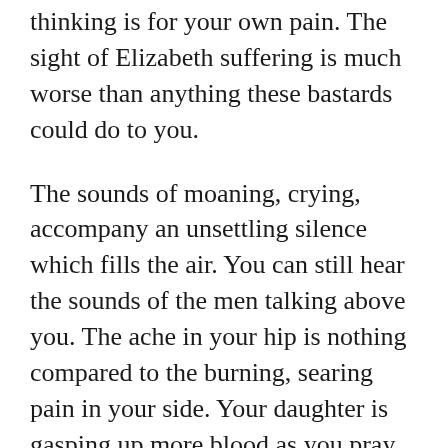thinking is for your own pain. The sight of Elizabeth suffering is much worse than anything these bastards could do to you.
The sounds of moaning, crying, accompany an unsettling silence which fills the air. You can still hear the sounds of the men talking above you. The ache in your hip is nothing compared to the burning, searing pain in your side. Your daughter is gasping up more blood as you pray for God to take her. Her blue eyes are not as bright as they were a few days ago before the rape gangs had their way with her.  She watched as they had their way with you and many of your friends. Closing your eyes, you cannot look.  Reaching for her you hear the soldiers walking the precipice above.